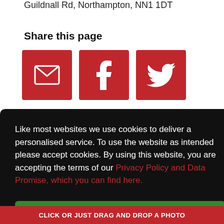Guildnall Rd, Northampton, NN1 1DT
Share this page
[Figure (infographic): Three red square social sharing buttons: email/envelope icon, Facebook 'f' icon, Twitter bird icon]
Like most websites we use cookies to deliver a personalised service. To use the website as intended please accept cookies. By using this website, you are accepting the terms of our Privacy Policy and Data Promise, which you can find here.
Accept Cookies
CLICK OR JUST DRAG AND DROP A PHOTO